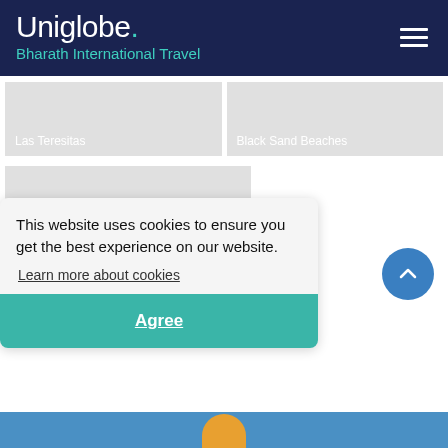Uniglobe. Bharath International Travel
[Figure (photo): Gray placeholder image labeled 'Las Teresitas']
[Figure (photo): Gray placeholder image labeled 'Black Sand Beaches']
[Figure (photo): Gray placeholder image with inline broken image icon]
This website uses cookies to ensure you get the best experience on our website.
Learn more about cookies
Agree
[Figure (photo): Blue strip at bottom with partial yellow/orange accent shape]